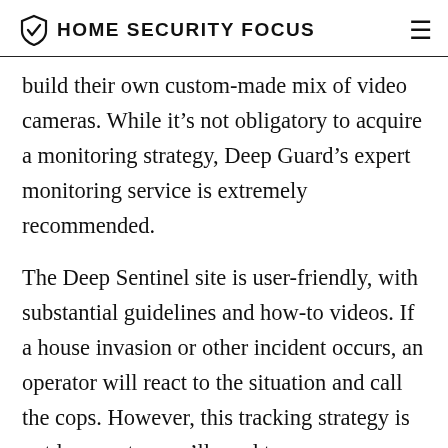HOME SECURITY FOCUS
build their own custom-made mix of video cameras. While it’s not obligatory to acquire a monitoring strategy, Deep Guard’s expert monitoring service is extremely recommended.
The Deep Sentinel site is user-friendly, with substantial guidelines and how-to videos. If a house invasion or other incident occurs, an operator will react to the situation and call the cops. However, this tracking strategy is not low-cost – you’ll need to pay